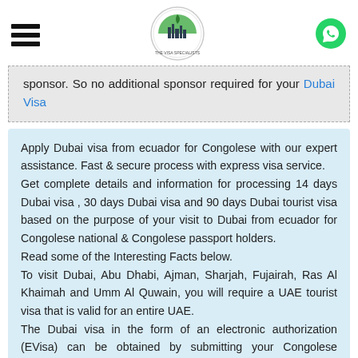[Figure (logo): Website header with hamburger menu, circular logo with Dubai skyline and 'THE VISA SPECIALISTS' text, and WhatsApp green icon]
sponsor. So no additional sponsor required for your Dubai Visa
Apply Dubai visa from ecuador for Congolese with our expert assistance. Fast & secure process with express visa service.
Get complete details and information for processing 14 days Dubai visa , 30 days Dubai visa and 90 days Dubai tourist visa based on the purpose of your visit to Dubai from ecuador for Congolese national & Congolese passport holders.
Read some of the Interesting Facts below.
To visit Dubai, Abu Dhabi, Ajman, Sharjah, Fujairah, Ras Al Khaimah and Umm Al Quwain, you will require a UAE tourist visa that is valid for an entire UAE.
The Dubai visa in the form of an electronic authorization (EVisa) can be obtained by submitting your Congolese passport copy online. visa application formWe have simplified the Dubai for Congolese